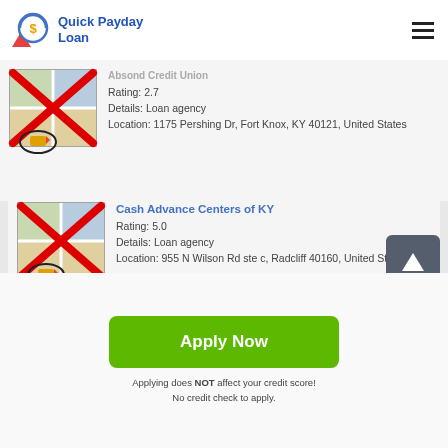Quick Payday Loan
Absond Credit Union
Rating: 2.7
Details: Loan agency
Location: 1175 Pershing Dr, Fort Knox, KY 40121, United States
Cash Advance Centers of KY
Rating: 5.0
Details: Loan agency
Location: 955 N Wilson Rd ste c, Radcliff 40160, United States
Apply Now
Applying does NOT affect your credit score!
No credit check to apply.